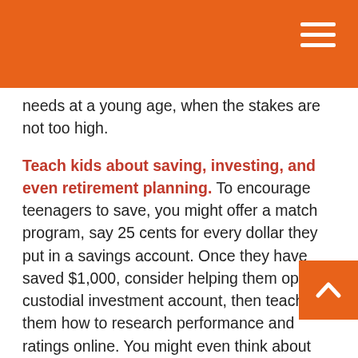needs at a young age, when the stakes are not too high.
Teach kids about saving, investing, and even retirement planning. To encourage teenagers to save, you might offer a match program, say 25 cents for every dollar they put in a savings account. Once they have saved $1,000, consider helping them open a custodial investment account, then teach them how to research performance and ratings online. You might even think about opening an individual retirement account (IRA). Some parents offer to fund an IRA for their children as long as their children are earning a paycheck.³
As you teach your children about money, don't get discouraged if they don't take your advice. Mistakes made at this stage in life can leave a lasting impression. Also, resist the temptation to bail them out. We all learn better